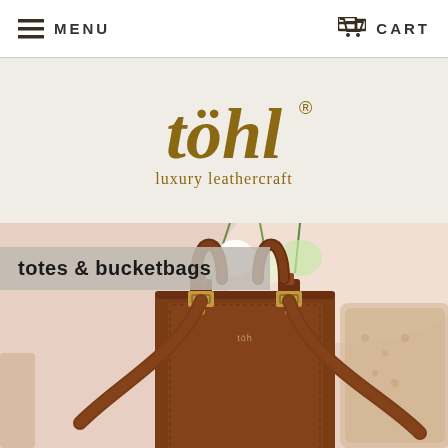MENU   CART
[Figure (logo): töhl luxury leathercraft brand logo in brown/gold color on light beige background]
totes & bucketbags
[Figure (photo): A brown tan leather tote bag with gold hardware, with white flowers/plants visible inside, on a light pink background with a cushion to the right]